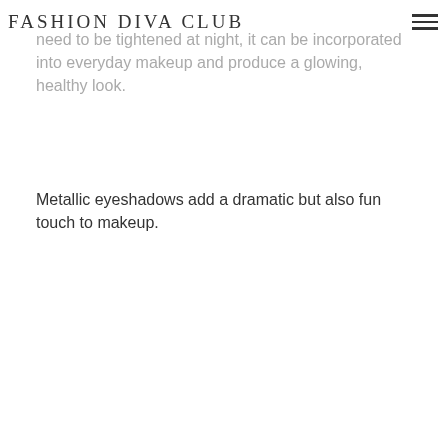Fashion Diva Club
need to be tightened at night, it can be incorporated into everyday makeup and produce a glowing, healthy look.
Metallic eyeshadows add a dramatic but also fun touch to makeup.